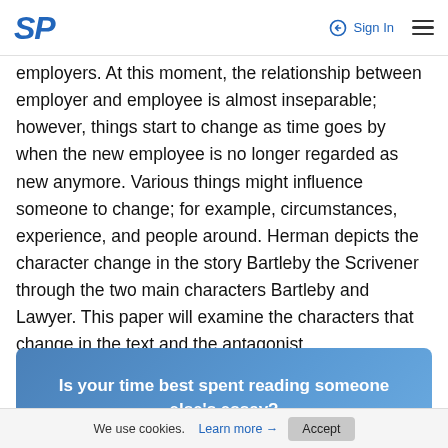SP  Sign In
employers. At this moment, the relationship between employer and employee is almost inseparable; however, things start to change as time goes by when the new employee is no longer regarded as new anymore. Various things might influence someone to change; for example, circumstances, experience, and people around. Herman depicts the character change in the story Bartleby the Scrivener through the two main characters Bartleby and Lawyer. This paper will examine the characters that change in the text and the antagonist.
[Figure (infographic): Blue gradient banner with white bold text reading: Is your time best spent reading someone else's essay?]
We use cookies. Learn more → Accept